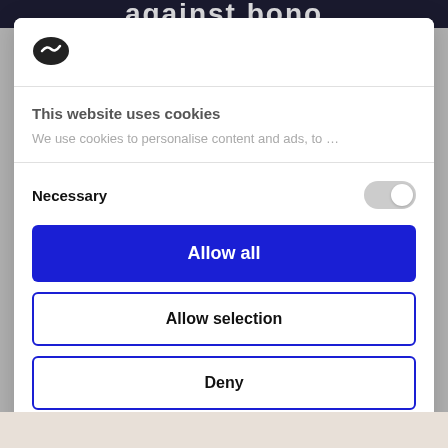against bono
[Figure (logo): Cookiebot logo – dark oval badge with white checkmark]
This website uses cookies
We use cookies to personalise content and ads, to...
Necessary
Allow all
Allow selection
Deny
Powered by Cookiebot by Usercentrics